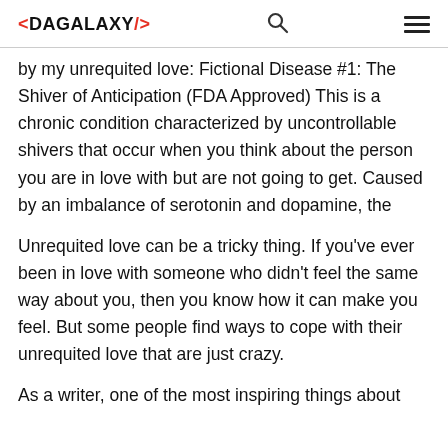<DAGALAXY/>
by my unrequited love: Fictional Disease #1: The Shiver of Anticipation (FDA Approved) This is a chronic condition characterized by uncontrollable shivers that occur when you think about the person you are in love with but are not going to get. Caused by an imbalance of serotonin and dopamine, the
Unrequited love can be a tricky thing. If you've ever been in love with someone who didn't feel the same way about you, then you know how it can make you feel. But some people find ways to cope with their unrequited love that are just crazy.
As a writer, one of the most inspiring things about